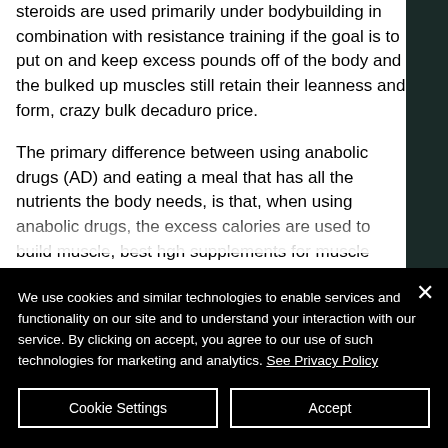steroids are used primarily under bodybuilding in combination with resistance training if the goal is to put on and keep excess pounds off of the body and the bulked up muscles still retain their leanness and form, crazy bulk decaduro price.
The primary difference between using anabolic drugs (AD) and eating a meal that has all the nutrients the body needs, is that, when using anabolic drugs, the excess calories are used to build muscle, best hgh supplements for muscle growth. While the
We use cookies and similar technologies to enable services and functionality on our site and to understand your interaction with our service. By clicking on accept, you agree to our use of such technologies for marketing and analytics. See Privacy Policy